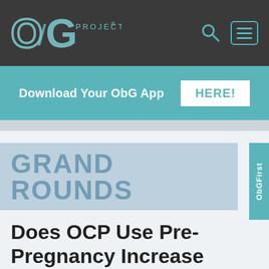[Figure (logo): ObG Project logo in teal/white on dark gray navigation bar]
Download Your ObG App  HERE!
GRAND ROUNDS
Does OCP Use Pre-Pregnancy Increase Risk or Birth Defects?